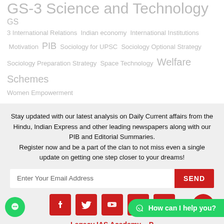GS-3 Science and Technology GS 3 International Relations Indian economy International Institutions Motivation PIB Sociology for UPSC Sociology Optional Strategy Sociology Preparation Strategy Space Technology Welfare Schemes Women Empowerment
Stay updated with our latest analysis on Daily Current affairs from the Hindu, Indian Express and other leading newspapers along with our PIB and Editorial Summaries. Register now and be a part of the clan to not miss even a single update on getting one step closer to your dreams!
Enter Your Email Address
SEND
[Figure (infographic): Social media icons row: Facebook, Twitter, YouTube, Instagram, Telegram (red square buttons), and a red circular scroll-to-top arrow button on the right]
Legacy IAS Academy –
How can I help you?
Address: #1535, 39th Cross Rd, Kottapalya, RPC 1 Block East,